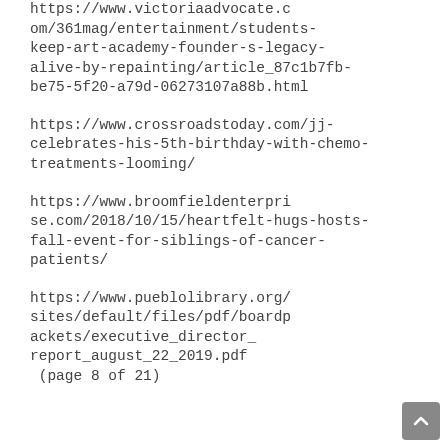https://www.victoriaadvocate.com/361mag/entertainment/students-keep-art-academy-founder-s-legacy-alive-by-repainting/article_87c1b7fb-be75-5f20-a79d-06273107a88b.html
https://www.crossroadstoday.com/jj-celebrates-his-5th-birthday-with-chemo-treatments-looming/
https://www.broomfieldenterprise.com/2018/10/15/heartfelt-hugs-hosts-fall-event-for-siblings-of-cancer-patients/
https://www.pueblolibrary.org/sites/default/files/pdf/boardpackets/executive_director_report_august_22_2019.pdf (page 8 of 21)